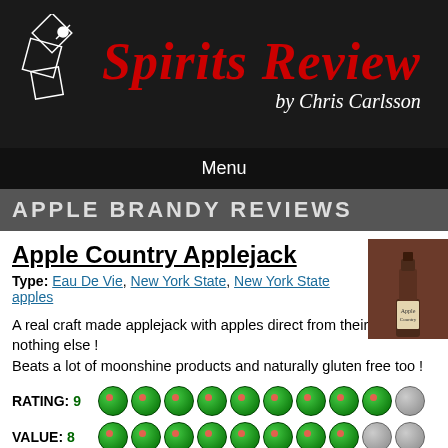[Figure (logo): Spirits Review by Chris Carlsson logo with martini glass illustration on dark background]
Menu
APPLE BRANDY REVIEWS
Apple Country Applejack
Type: Eau De Vie, New York State, New York State apples
[Figure (photo): Bottle of Apple Country Applejack spirit]
A real craft made applejack with apples direct from their farm and nothing else ! Beats a lot of moonshine products and naturally gluten free too !
RATING: 9
VALUE: 8